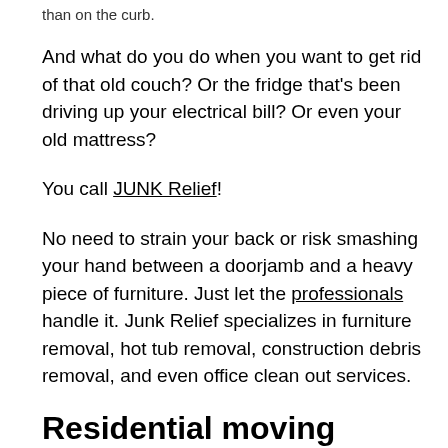than on the curb.
And what do you do when you want to get rid of that old couch? Or the fridge that's been driving up your electrical bill? Or even your old mattress?
You call JUNK Relief!
No need to strain your back or risk smashing your hand between a doorjamb and a heavy piece of furniture. Just let the professionals handle it. Junk Relief specializes in furniture removal, hot tub removal, construction debris removal, and even office clean out services.
Residential moving and junk removal